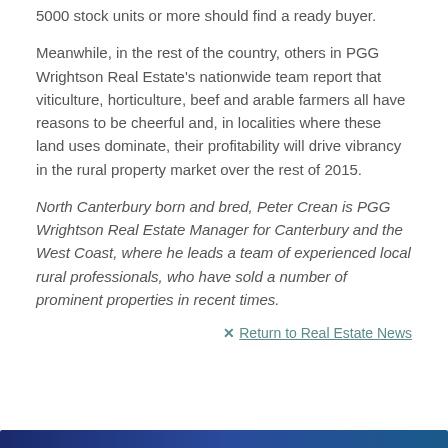5000 stock units or more should find a ready buyer.
Meanwhile, in the rest of the country, others in PGG Wrightson Real Estate's nationwide team report that viticulture, horticulture, beef and arable farmers all have reasons to be cheerful and, in localities where these land uses dominate, their profitability will drive vibrancy in the rural property market over the rest of 2015.
North Canterbury born and bred, Peter Crean is PGG Wrightson Real Estate Manager for Canterbury and the West Coast, where he leads a team of experienced local rural professionals, who have sold a number of prominent properties in recent times.
✕ Return to Real Estate News